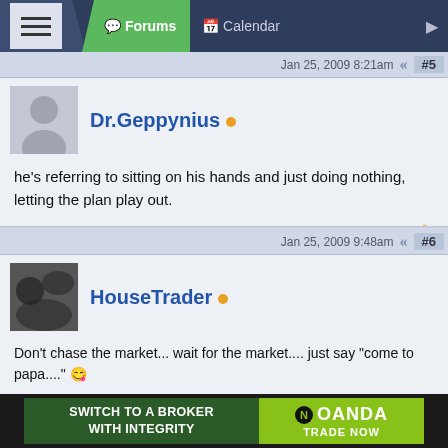Forums | Calendar
Jan 25, 2009 8:21am   #5
Dr.Geppynius
he's referring to sitting on his hands and just doing nothing, letting the plan play out.
Jan 25, 2009 9:48am   #6
HouseTrader
Don't chase the market... wait for the market.... just say "come to papa...." 😉

Most times, if you got a load of money and your hands are itching to pull the trigger, it's smarter (not easier) you just sit on your pile of cash and wait for the right market conditions... this can be considered a winning position.
[Figure (illustration): OANDA broker advertisement: 'SWITCH TO A BROKER WITH INTEGRITY' on green background, OANDA logo and 'TRADE NOW' on lime green background]